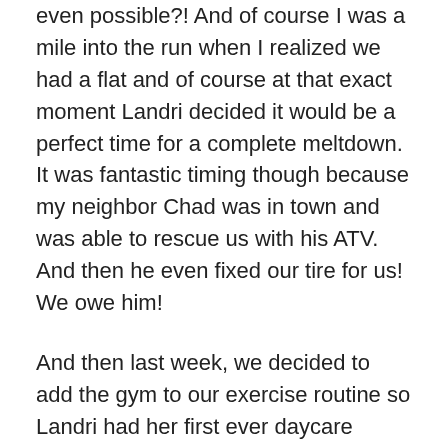even possible?!  And of course I was a mile into the run when I realized we had a flat and of course at that exact moment Landri decided it would be a perfect time for a complete meltdown.  It was fantastic timing though because my neighbor Chad was in town and was able to rescue us with his ATV.  And then he even fixed our tire for us!  We owe him!
And then last week, we decided to add the gym to our exercise routine so Landri had her first ever daycare experience! O.M.G.  It was SO hard to leave her.  For an hour.  With me ten feet away.  Not quite sure yet how I will manage all-day daycare 45 minutes away from my office!  Hopefully the gym can be a baby step towards that – start slowly, right?
This past Friday there was actually a football game that